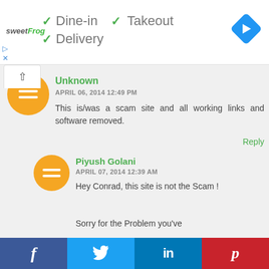[Figure (screenshot): Ad banner with sweetFrog logo and checkmarks for Dine-in, Takeout, Delivery services, and a navigation icon]
Unknown
APRIL 06, 2014 12:49 PM
This is/was a scam site and all working links and software removed.
Reply
Piyush Golani
APRIL 07, 2014 12:39 AM
Hey Conrad, this site is not the Scam !
Sorry for the Problem you've
[Figure (infographic): Social share bar with Facebook, Twitter, LinkedIn, and Pinterest buttons]